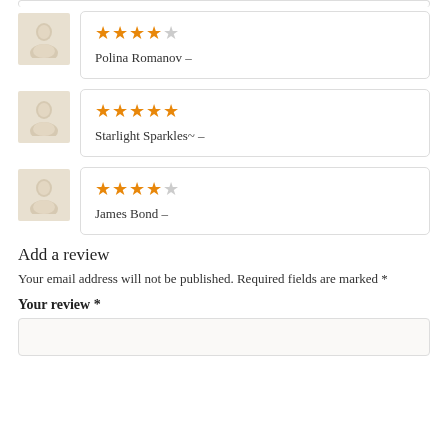Polina Romanov –
Starlight Sparkles~ –
James Bond –
Add a review
Your email address will not be published. Required fields are marked *
Your review *